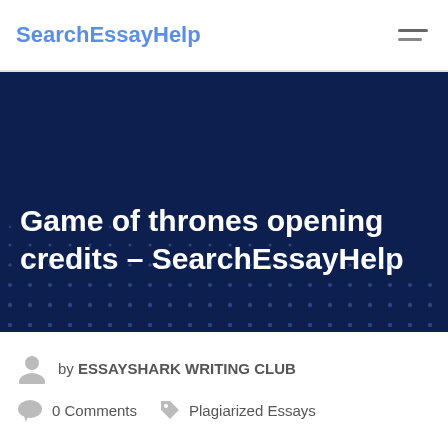SearchEssayHelp
Game of thrones opening credits – SearchEssayHelp
by ESSAYSHARK WRITING CLUB
0 Comments   Plagiarized Essays